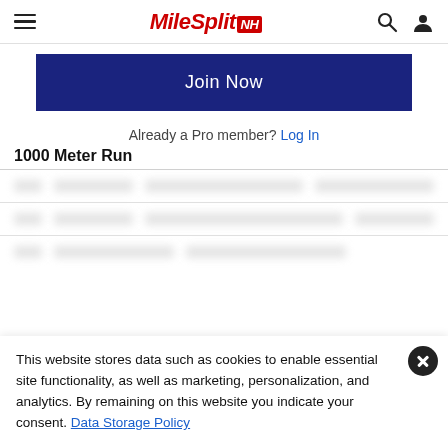MileSplit NH
Join Now
Already a Pro member? Log In
1000 Meter Run
[Figure (other): Three blurred rows of athlete data behind a paywall overlay]
This website stores data such as cookies to enable essential site functionality, as well as marketing, personalization, and analytics. By remaining on this website you indicate your consent. Data Storage Policy